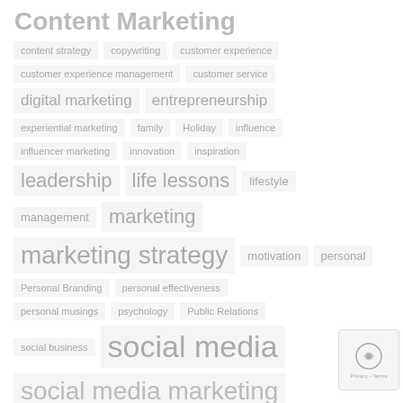Content Marketing
content strategy
copywriting
customer experience
customer experience management
customer service
digital marketing
entrepreneurship
experiential marketing
family
Holiday
influence
influencer marketing
innovation
inspiration
leadership
life lessons
lifestyle
management
marketing
marketing strategy
motivation
personal
Personal Branding
personal effectiveness
personal musings
psychology
Public Relations
social business
social media
social media marketing